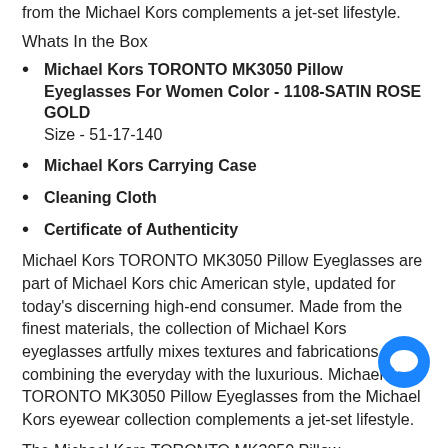from the Michael Kors complements a jet-set lifestyle.
Whats In the Box
Michael Kors TORONTO MK3050 Pillow Eyeglasses For Women Color - 1108-SATIN ROSE GOLD
Size - 51-17-140
Michael Kors Carrying Case
Cleaning Cloth
Certificate of Authenticity
Michael Kors TORONTO MK3050 Pillow Eyeglasses are part of Michael Kors chic American style, updated for today's discerning high-end consumer. Made from the finest materials, the collection of Michael Kors eyeglasses artfully mixes textures and fabrications, combining the everyday with the luxurious. Michael Kors TORONTO MK3050 Pillow Eyeglasses from the Michael Kors eyewear collection complements a jet-set lifestyle.
The Michael Kors TORONTO MK3050 Pillow Eyeglasses include following features: